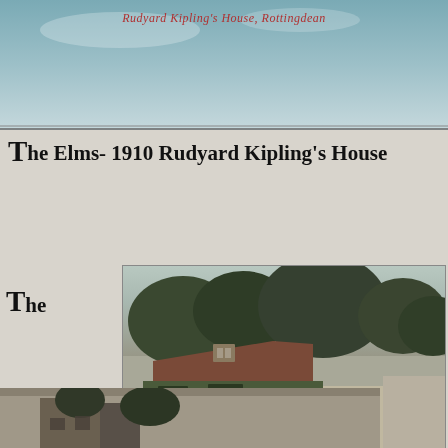[Figure (photo): Top portion of a vintage postcard showing Rudyard Kipling's House, Rottingdean, with a pale blue-green sky background and a caption in red italic text.]
Rudyard Kipling's House, Rottingdean
The Elms- 1910 Rudyard Kipling's House
The
[Figure (photo): Black and white vintage photograph circa 1910 of The Elms, Rudyard Kipling's House in Rottingdean. Shows an ivy-covered house with a brick wall in the foreground, a man standing to the left, and a group of children/figures standing near a white gate on the right. Caption text at bottom reads: RUDYARD KIPLING'S HOUSE. ROTTINGDEAN]
Elms- 1910 Rudyard Kipling's House
[Figure (photo): Bottom portion of another vintage postcard showing a partial view of a house, partially cut off at the bottom of the page.]